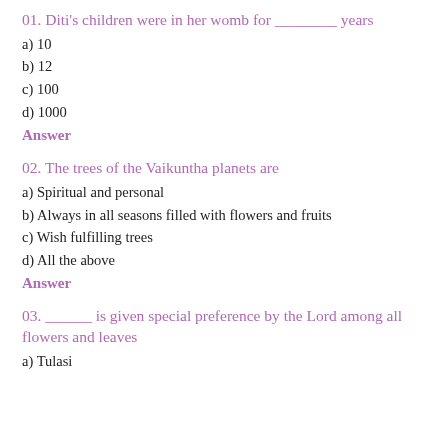01. Diti's children were in her womb for ________ years
a) 10
b) 12
c) 100
d) 1000
Answer
02. The trees of the Vaikuntha planets are
a) Spiritual and personal
b) Always in all seasons filled with flowers and fruits
c) Wish fulfilling trees
d) All the above
Answer
03. ______ is given special preference by the Lord among all flowers and leaves
a) Tulasi